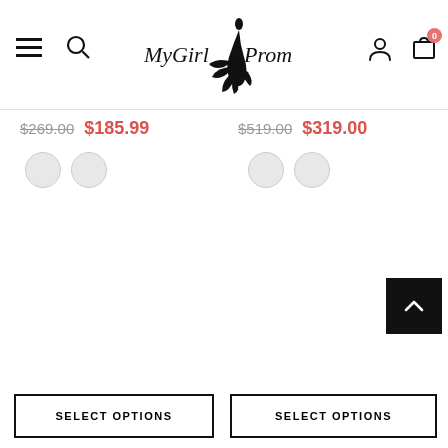MyGirlProm navigation bar with hamburger menu, search icon, logo, account icon, and cart icon showing 0 items
$269.00 $185.99
$519.00 $319.00
[Figure (other): Two circular color swatches (light grey) for left product]
[Figure (other): Two circular color swatches (light grey) for right product]
[Figure (other): Back to top button - black square with upward chevron arrow]
SELECT OPTIONS
SELECT OPTIONS